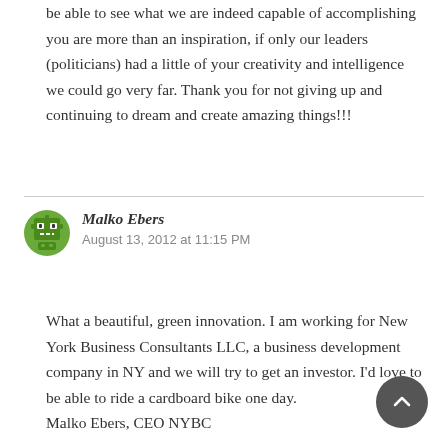be able to see what we are indeed capable of accomplishing you are more than an inspiration, if only our leaders (politicians) had a little of your creativity and intelligence we could go very far. Thank you for not giving up and continuing to dream and create amazing things!!!
[Figure (illustration): Green pixel-art avatar icon for user Malko Ebers]
Malko Ebers
August 13, 2012 at 11:15 PM
What a beautiful, green innovation. I am working for New York Business Consultants LLC, a business development company in NY and we will try to get an investor. I’d love to be able to ride a cardboard bike one day.
Malko Ebers, CEO NYBC